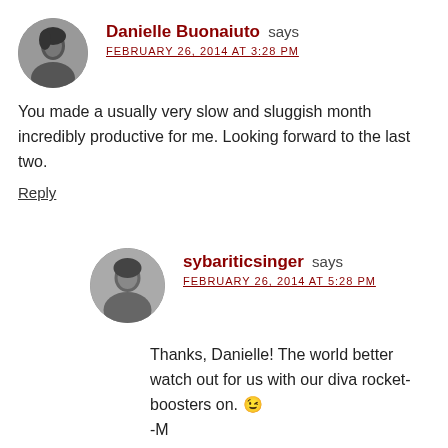[Figure (photo): Circular avatar photo of Danielle Buonaiuto in black and white]
Danielle Buonaiuto says
FEBRUARY 26, 2014 AT 3:28 PM
You made a usually very slow and sluggish month incredibly productive for me. Looking forward to the last two.
Reply
[Figure (photo): Circular avatar photo of sybariticsinger in black and white]
sybariticsinger says
FEBRUARY 26, 2014 AT 5:28 PM
Thanks, Danielle! The world better watch out for us with our diva rocket-boosters on. 😉
-M